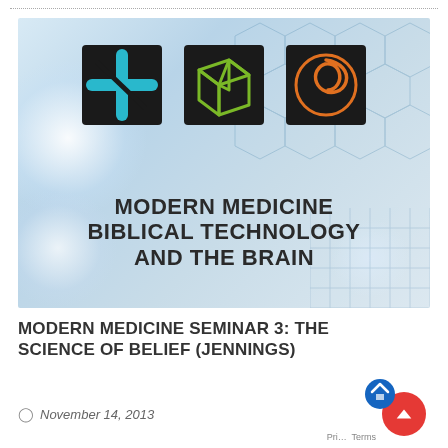[Figure (illustration): Seminar promotional banner with dark background squares containing a teal cross icon, a green wireframe cube icon, and an orange snake/caduceus circular icon. Below the icons: bold text reading 'MODERN MEDICINE BIBLICAL TECHNOLOGY AND THE BRAIN' on a light blue gradient background with hexagonal grid pattern and bokeh circles.]
MODERN MEDICINE SEMINAR 3: THE SCIENCE OF BELIEF (JENNINGS)
November 14, 2013